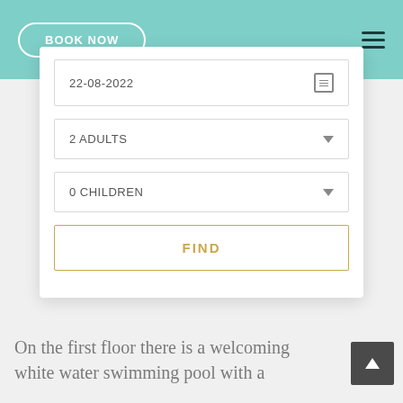[Figure (screenshot): Hotel booking widget screenshot showing a teal header with BOOK NOW button and hamburger menu, followed by a white booking card with date field (22-08-2022), 2 ADULTS dropdown, 0 CHILDREN dropdown, and a FIND button with gold border]
On the first floor there is a welcoming white water swimming pool with a